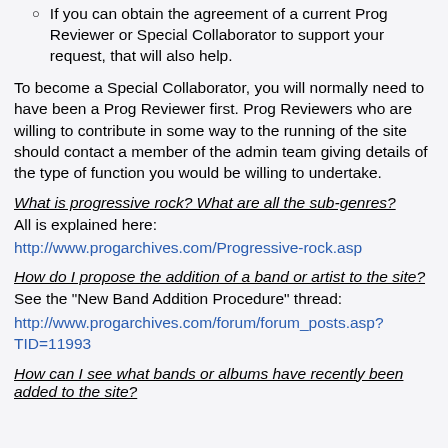If you can obtain the agreement of a current Prog Reviewer or Special Collaborator to support your request, that will also help.
To become a Special Collaborator, you will normally need to have been a Prog Reviewer first. Prog Reviewers who are willing to contribute in some way to the running of the site should contact a member of the admin team giving details of the type of function you would be willing to undertake.
What is progressive rock? What are all the sub-genres?
All is explained here:
http://www.progarchives.com/Progressive-rock.asp
How do I propose the addition of a band or artist to the site?
See the "New Band Addition Procedure" thread:
http://www.progarchives.com/forum/forum_posts.asp?TID=11993
How can I see what bands or albums have recently been added to the site?